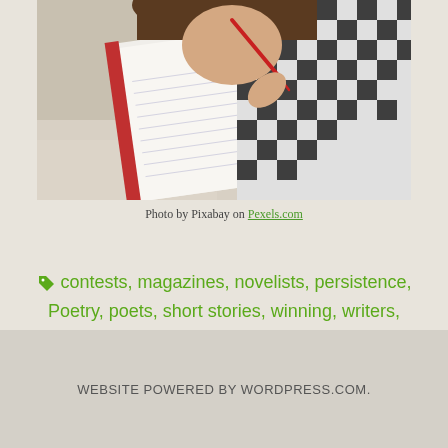[Figure (photo): A young person with dark hair wearing a black and white checkered shirt, writing in a notebook with a red pen, viewed from above and slightly behind.]
Photo by Pixabay on Pexels.com
contests, magazines, novelists, persistence, Poetry, poets, short stories, winning, writers, Writing, writing contests
WEBSITE POWERED BY WORDPRESS.COM.